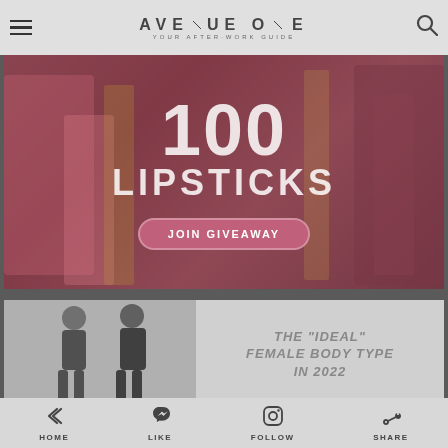AVENUE ONE — YOUR AFTER-WORK GUIDE
[Figure (photo): Banner image showing lipsticks and beauty products with overlaid text '100 LIPSTICKS' and a pink 'JOIN GIVEAWAY' button]
[Figure (photo): Article card showing two female silhouette figures in fashion poses, with title text 'THE "IDEAL" FEMALE BODY TYPE IN 2022']
HOME  LIKE  FOLLOW  SHARE